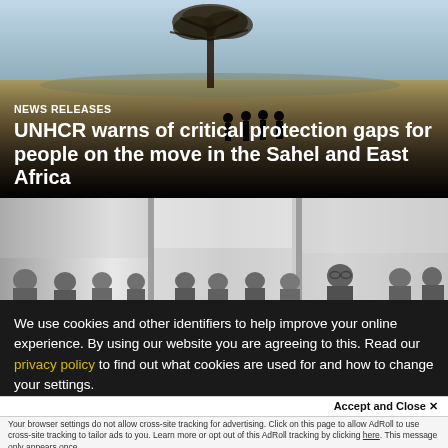[Figure (photo): Desert landscape with sparse trees and group of people standing in sandy terrain, dark overlay at bottom, UNHCR news article header image]
NEWS RELEASES
UNHCR warns of critical protection gaps for people on the move in the Sahel and East Africa
[Figure (photo): Black and white photo of people seated at a long table or conference setting, multiple individuals visible]
We use cookies and other identifiers to help improve your online experience. By using our website you are agreeing to this. Read our privacy policy to find out what cookies are used for and how to change your settings.
Accept and Close ✕
Your browser settings do not allow cross-site tracking for advertising. Click on this page to allow AdRoll to use cross-site tracking to tailor ads to you. Learn more or opt out of this AdRoll tracking by clicking here. This message only appears once.